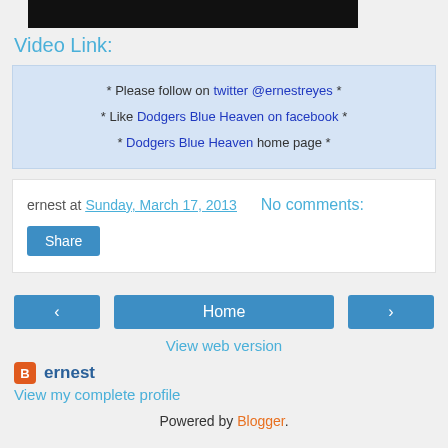[Figure (other): Black redacted/video thumbnail bar]
Video Link:
* Please follow on twitter @ernestreyes * * Like Dodgers Blue Heaven on facebook * * Dodgers Blue Heaven home page *
ernest at Sunday, March 17, 2013   No comments:
Share
‹   Home   ›
View web version
ernest
View my complete profile
Powered by Blogger.